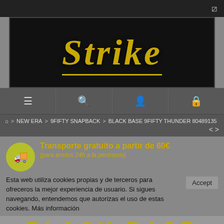shuffle icon top right
[Figure (logo): Strike brand logo in yellow/gold italic script font on black background with yellow underline]
[Figure (infographic): Navigation bar with 4 icons: hamburger menu, search, user, and bag/lock]
⌂ > NEW ERA > 9FIFTY SNAPBACK > BLACK BASE 9FIFTY THUNDER 80489135
Transporte gratuito a partir de 60€ (para envíos 24h a la península)
Esta web utiliza cookies propias y de terceros para ofreceros la mejor experiencia de usuario. Si sigues navegando, entendemos que autorizas el uso de estas cookies. Más información
BLACK BASE